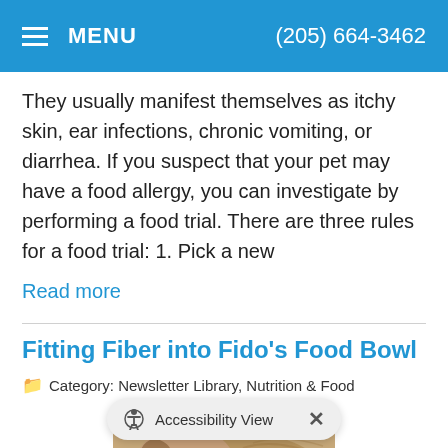MENU  (205) 664-3462
They usually manifest themselves as itchy skin, ear infections, chronic vomiting, or diarrhea. If you suspect that your pet may have a food allergy, you can investigate by performing a food trial. There are three rules for a food trial: 1. Pick a new
Read more
Fitting Fiber into Fido's Food Bowl
Category: Newsletter Library, Nutrition & Food
[Figure (photo): A tan/brown dog eating from a bowl, viewed from above at an angle. The dog is wearing a collar.]